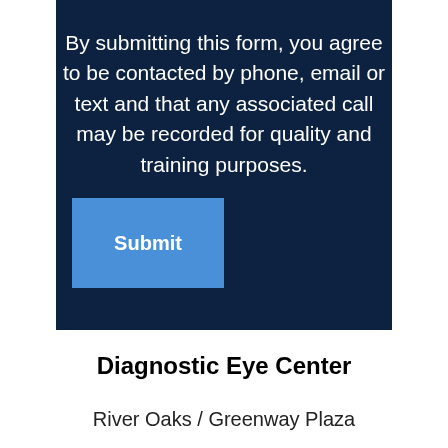By submitting this form, you agree to be contacted by phone, email or text and that any associated call may be recorded for quality and training purposes.
Submit
Diagnostic Eye Center
River Oaks / Greenway Plaza